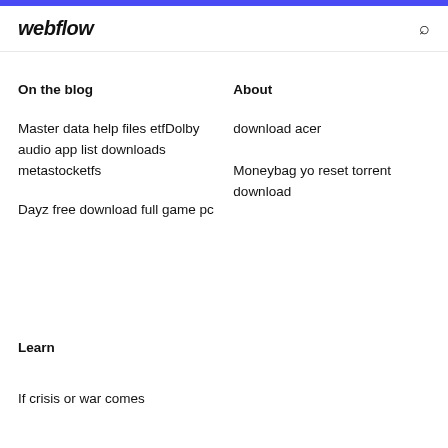webflow
On the blog
About
Master data help files etfDolby audio app list downloads metastocketfs
download acer
Moneybag yo reset torrent download
Dayz free download full game pc
Learn
If crisis or war comes